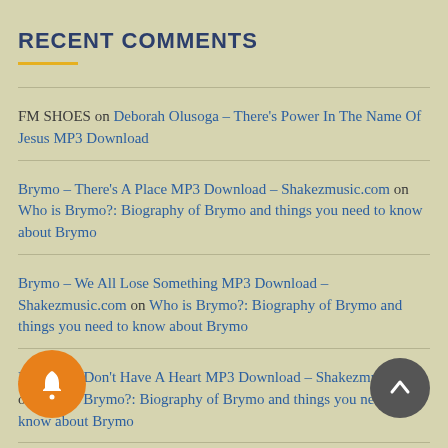RECENT COMMENTS
FM SHOES on Deborah Olusoga – There's Power In The Name Of Jesus MP3 Download
Brymo – There's A Place MP3 Download – Shakezmusic.com on Who is Brymo?: Biography of Brymo and things you need to know about Brymo
Brymo – We All Lose Something MP3 Download – Shakezmusic.com on Who is Brymo?: Biography of Brymo and things you need to know about Brymo
Brymo – I Don't Have A Heart MP3 Download – Shakezmusic.com on Who is Brymo?: Biography of Brymo and things you need to know about Brymo
Brymo – The Dark MP3 Download – Shakezmusic.com on Who is Brymo?: Biography of Brymo and things you need to know about Brymo